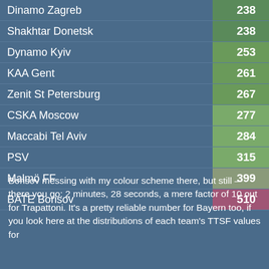[Figure (bar-chart): Team TTSF values]
Borisov messing with my colour scheme there, but still – there you go: 2 minutes, 28 seconds, a mere factor of 10 out for Trapattoni. It's a pretty reliable number for Bayern too, if you look here at the distributions of each team's TTSF values for